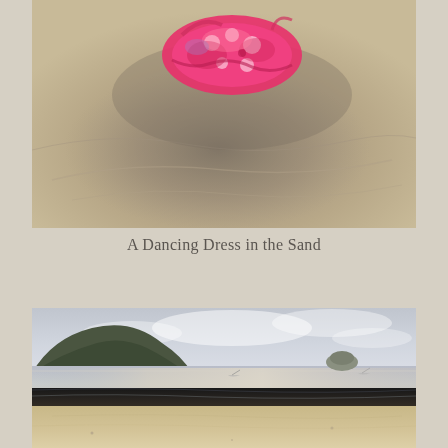[Figure (photo): Close-up photograph of sandy beach surface with a pink and white floral dress or fabric item resting on top of the sand, showing texture and shadows in the sand.]
A Dancing Dress in the Sand
[Figure (photo): Landscape photograph of a beach at dusk or dawn showing wet sand in foreground, dark waterline, calm sea with small boats visible in distance, rocky hills on the left, and overcast sky.]